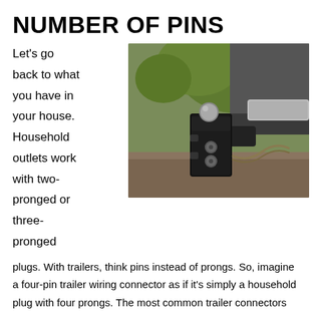NUMBER OF PINS
Let's go back to what you have in your house. Household outlets work with two-pronged or three-pronged
[Figure (photo): Close-up photo of a trailer hitch ball mount attached to a vehicle, showing the hitch receiver and mounting hardware, outdoors with green foliage in background.]
plugs. With trailers, think pins instead of prongs. So, imagine a four-pin trailer wiring connector as if it's simply a household plug with four prongs. The most common trailer connectors have four, five, six or seven pins. The more pins in the connector, the greater the number of functions it can handle.
Four-Pin and Five-Pin: Every connector has one pin